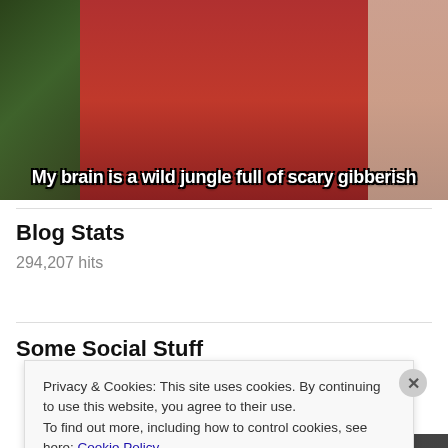[Figure (photo): Photo of a woman in a red Christmas sweater with Santa Claus decoration, beside a Christmas tree on the left and kitchen background on the right. White bold caption reads: My brain is a wild jungle full of scary gibberish]
Blog Stats
294,207 hits
Some Social Stuff
Privacy & Cookies: This site uses cookies. By continuing to use this website, you agree to their use.
To find out more, including how to control cookies, see here: Cookie Policy